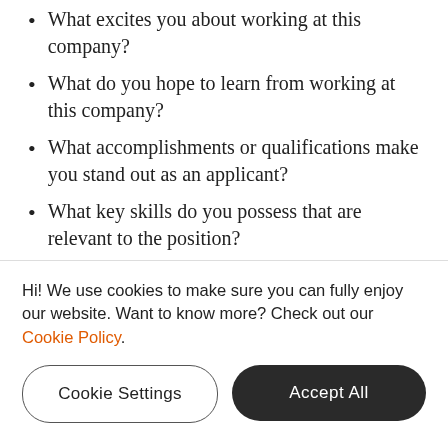What excites you about working at this company?
What do you hope to learn from working at this company?
What accomplishments or qualifications make you stand out as an applicant?
What key skills do you possess that are relevant to the position?
Showcasing your accomplishments should be a priority, as they help to demonstrate to employers the real-life value you can bring to their company.
Hi! We use cookies to make sure you can fully enjoy our website. Want to know more? Check out our Cookie Policy.